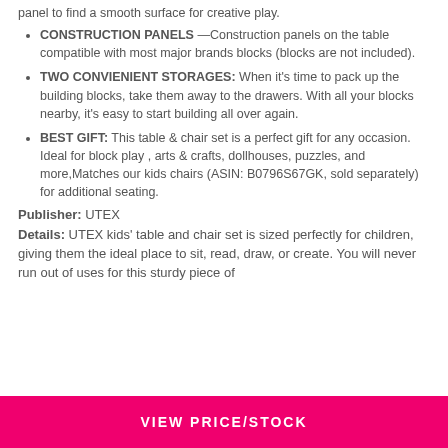panel to find a smooth surface for creative play.
CONSTRUCTION PANELS – Construction panels on the table compatible with most major brands blocks (blocks are not included).
TWO CONVIENIENT STORAGES: When it's time to pack up the building blocks, take them away to the drawers. With all your blocks nearby, it's easy to start building all over again.
BEST GIFT: This table & chair set is a perfect gift for any occasion. Ideal for block play , arts & crafts, dollhouses, puzzles, and more,Matches our kids chairs (ASIN: B0796S67GK, sold separately) for additional seating.
Publisher: UTEX
Details: UTEX kids' table and chair set is sized perfectly for children, giving them the ideal place to sit, read, draw, or create. You will never run out of uses for this sturdy piece of
VIEW PRICE/STOCK